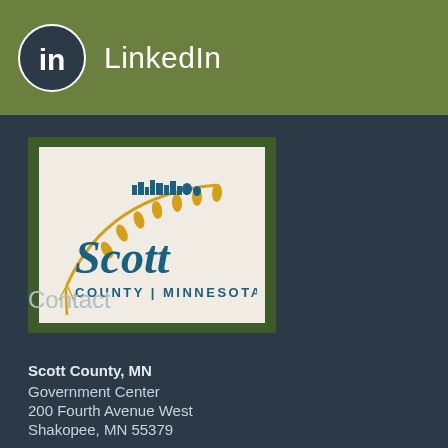[Figure (logo): LinkedIn logo icon (circle with 'in' text) and LinkedIn text label on olive green header bar]
[Figure (logo): Scott County Minnesota logo — wheat stalk arc with city skyline silhouette, 'Scott' in teal italic bold, 'COUNTY | MINNESOTA' in teal caps below]
Contact
Scott County, MN
Government Center
200 Fourth Avenue West
Shakopee, MN 55379